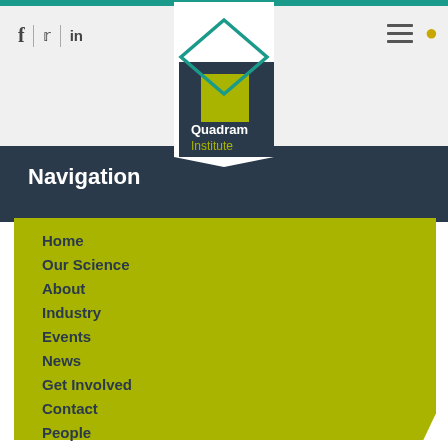f | tw | in [social icons] [hamburger menu] [search icon]
[Figure (logo): Quadram Institute logo — teal diamond outline with yellow-green square inside, on dark navy background, white text 'Quadram Institute']
Navigation
Home
Our Science
About
Industry
Events
News
Get Involved
Contact
People
Vacancies